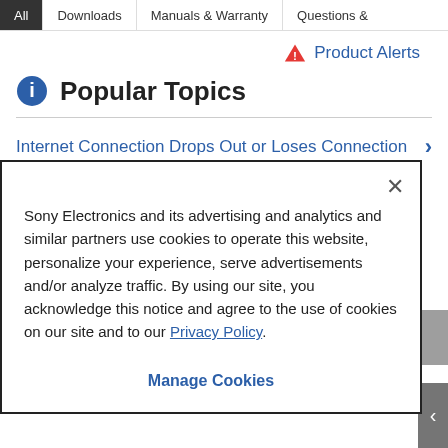All | Downloads | Manuals & Warranty | Questions &...
Product Alerts
Popular Topics
Internet Connection Drops Out or Loses Connection
Sony Electronics and its advertising and analytics and similar partners use cookies to operate this website, personalize your experience, serve advertisements and/or analyze traffic. By using our site, you acknowledge this notice and agree to the use of cookies on our site and to our Privacy Policy.
Manage Cookies